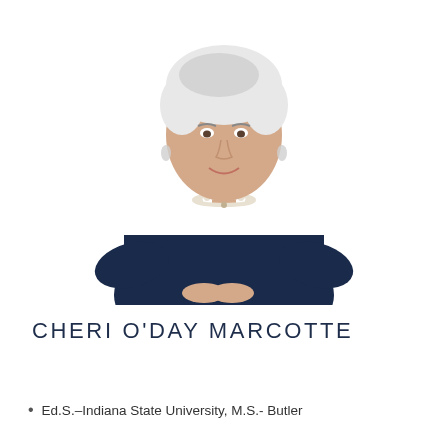[Figure (photo): Professional headshot of Cheri O'Day Marcotte, a woman with short white hair wearing a navy blue top and pearl necklace, photographed against a white background]
CHERI O'DAY MARCOTTE
Ed.S.–Indiana State University, M.S.- Butler